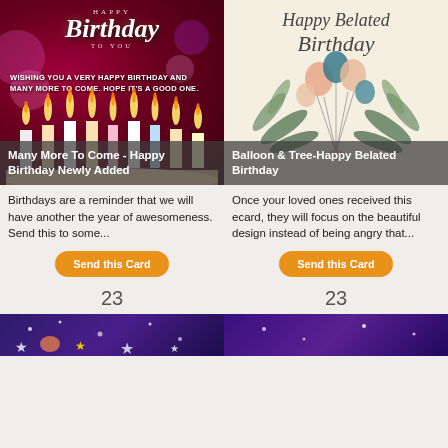[Figure (illustration): Happy Birthday card with candles on dark red background, script text 'Happy Birthday To You', message 'WISHING YOU A VERY HAPPY BIRTHDAY AND MANY MORE TO COME. HOPE IT'S A GOOD ONE.']
Many More To Come - Happy Birthday Newly Added
Birthdays are a reminder that we will have another the year of awesomeness. Send this to some...
[Figure (illustration): Happy Belated Birthday card with cream background, script text 'Happy Belated Birthday', colorful balloons and tropical leaf decoration]
Balloon & Tree-Happy Belated Birthday
Once your loved ones received this ecard, they will focus on the beautiful design instead of being angry that...
23
23
[Figure (illustration): Purple space-themed birthday card preview with stars]
[Figure (illustration): Purple birthday card preview]